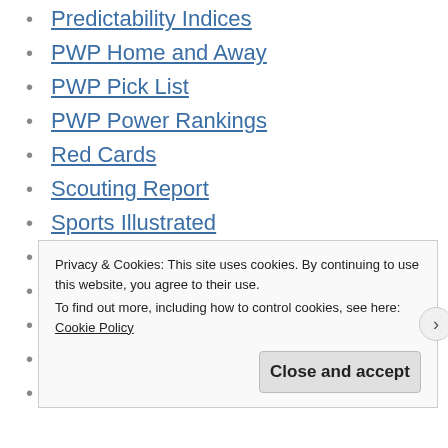Predictability Indices
PWP Home and Away
PWP Pick List
PWP Power Rankings
Red Cards
Scouting Report
Sports Illustrated
Standard Deviations
Statistics in Soccer
Team Analysis
Team Match-ups for MLS
Total Shots Ratio
Privacy & Cookies: This site uses cookies. By continuing to use this website, you agree to their use. To find out more, including how to control cookies, see here: Cookie Policy
Close and accept